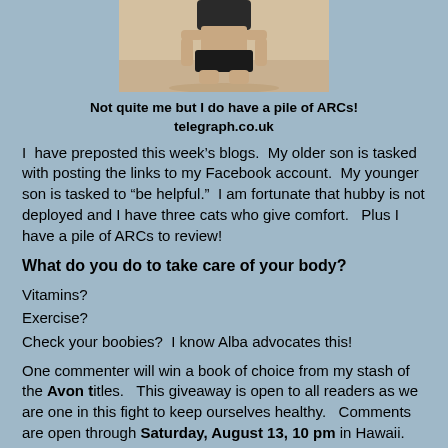[Figure (photo): Photo of a person in a swimsuit crouching on a beach/sandy surface, cropped to show only the lower torso and legs from above]
Not quite me but I do have a pile of ARCs!
telegraph.co.uk
I have preposted this week’s blogs.  My older son is tasked with posting the links to my Facebook account.  My younger son is tasked to "be helpful."  I am fortunate that hubby is not deployed and I have three cats who give comfort.   Plus I have a pile of ARCs to review!
What do you do to take care of your body?
Vitamins?
Exercise?
Check your boobies?  I know Alba advocates this!
One commenter will win a book of choice from my stash of the Avon titles.   This giveaway is open to all readers as we are one in this fight to keep ourselves healthy.   Comments are open through Saturday, August 13, 10 pm in Hawaii.  I’ll